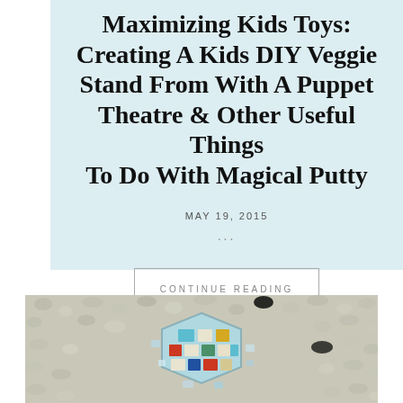Maximizing Kids Toys: Creating A Kids DIY Veggie Stand From With A Puppet Theatre & Other Useful Things To Do With Magical Putty
MAY 19, 2015
...
CONTINUE READING
[Figure (photo): A colorful mosaic or sea glass art piece with multicolored tiles arranged on a gravel/pebble surface, viewed from above.]